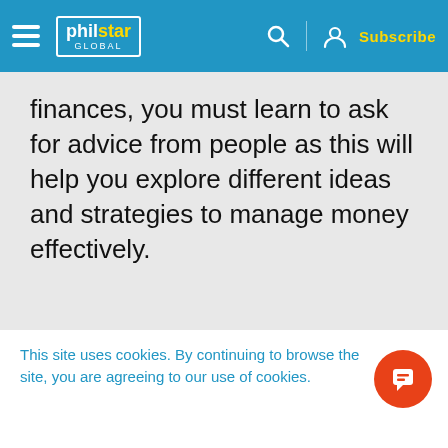philstar GLOBAL | Subscribe
finances, you must learn to ask for advice from people as this will help you explore different ideas and strategies to manage money effectively.
This site uses cookies. By continuing to browse the site, you are agreeing to our use of cookies.